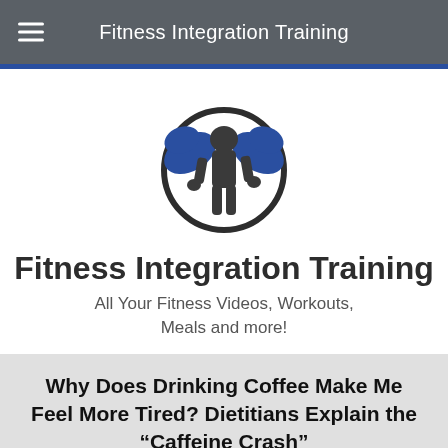Fitness Integration Training
[Figure (logo): Circular logo with dark outline showing a silhouette of a person flexing/posing with blue muscular arms raised, representing Fitness Integration Training]
Fitness Integration Training
All Your Fitness Videos, Workouts, Meals and more!
Why Does Drinking Coffee Make Me Feel More Tired? Dietitians Explain the “Caffeine Crash”